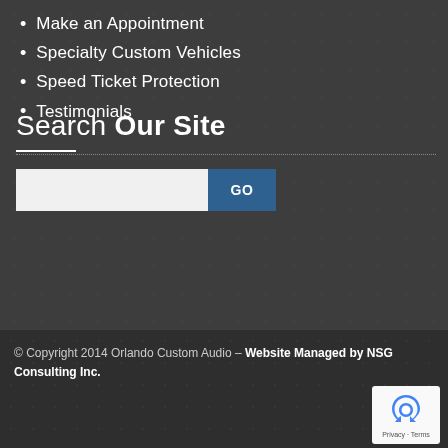Make an Appointment
Specialty Custom Vehicles
Speed Ticket Protection
Testimonials
Search Our Site
[Figure (screenshot): Search input box with GO button]
© Copyright 2014 Orlando Custom Audio – Website Managed by NSG Consulting Inc.